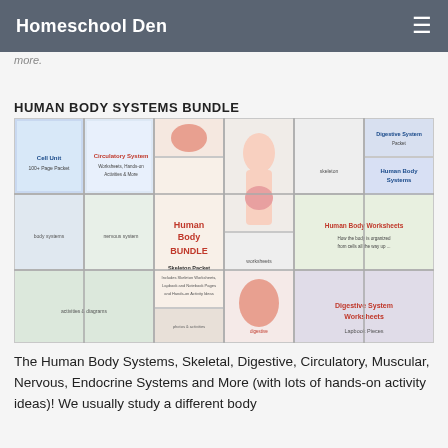Homeschool Den
more.
HUMAN BODY SYSTEMS BUNDLE
[Figure (photo): Collage of Human Body Systems educational worksheets and packets including Cell Unit, Circulatory System, Digestive System, Skeletal System, Nervous System, Human Body Bundle, Skeleton Packet, Human Body Worksheets, Lapbook pieces, and more.]
The Human Body Systems, Skeletal, Digestive, Circulatory, Muscular, Nervous, Endocrine Systems and More (with lots of hands-on activity ideas)! We usually study a different body